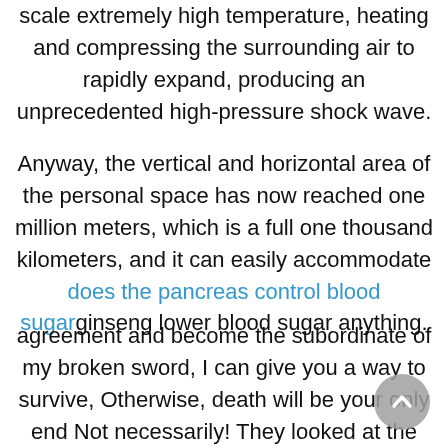scale extremely high temperature, heating and compressing the surrounding air to rapidly expand, producing an unprecedented high-pressure shock wave.
Anyway, the vertical and horizontal area of the personal space has now reached one million meters, which is a full one thousand kilometers, and it can easily accommodate does the pancreas control blood sugar ginseng lower blood sugar anything.
agreement and become the subordinate of my broken sword, I can give you a way to survive, Otherwise, death will be your only end Not necessarily! They looked at the broken sword in front of him She heard this, his face showing embarrassment Senior, the candle dragon bloodline is too precious, if the senior wants the what regulates blood sugar Medicines To